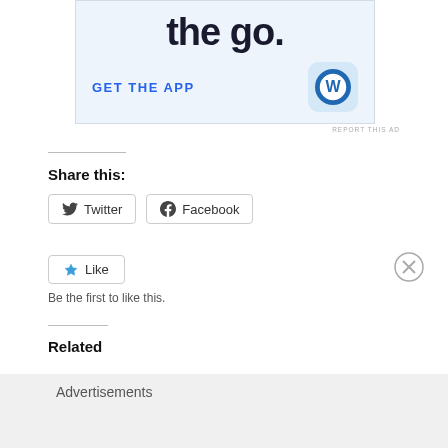[Figure (other): WordPress app advertisement banner with 'the go.' text, 'GET THE APP' button in blue, and WordPress logo icon on light blue background]
REPORT THIS AD
Share this:
Twitter  Facebook
Like
Be the first to like this.
Related
Advertisements